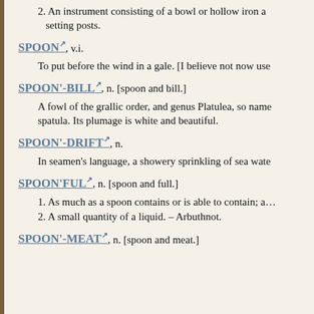2. An instrument consisting of a bowl or hollow iron a… setting posts.
SPOON, v.i.
To put before the wind in a gale. [I believe not now use…
SPOON'-BILL, n. [spoon and bill.]
A fowl of the grallic order, and genus Platulea, so name… spatula. Its plumage is white and beautiful.
SPOON'-DRIFT, n.
In seamen's language, a showery sprinkling of sea wate…
SPOON'FUL, n. [spoon and full.]
1. As much as a spoon contains or is able to contain; a…
2. A small quantity of a liquid. – Arbuthnot.
SPOON'-MEAT, n. [spoon and meat.]